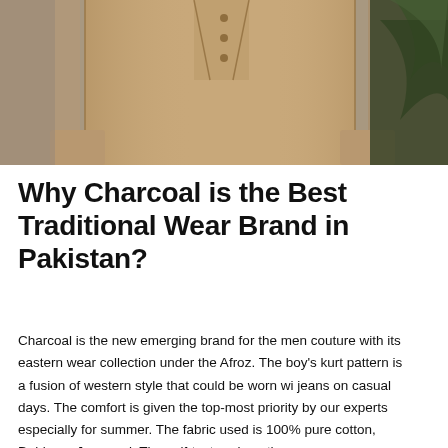[Figure (photo): A man wearing a beige/tan kurta (traditional South Asian garment) with buttons at the collar, long sleeves. A plant is visible on the right side of the image. Grey background.]
Why Charcoal is the Best Traditional Wear Brand in Pakistan?
Charcoal is the new emerging brand for the men couture with its eastern wear collection under the Afroz. The boy's kurt pattern is a fusion of western style that could be worn wi jeans on casual days. The comfort is given the top-most priority by our experts especially for summer. The fabric used is 100% pure cotton, Dobby or Jacquard. The self-textured gent's